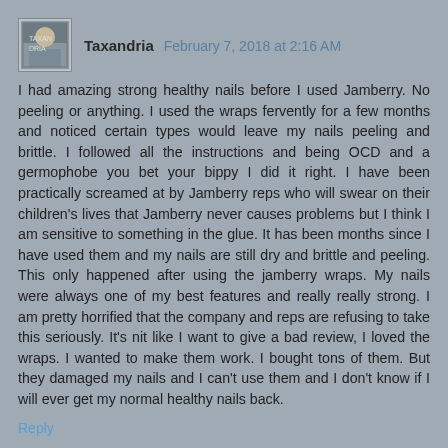[Figure (photo): User avatar thumbnail showing a person, small square profile image]
Taxandria  February 7, 2018 at 2:16 AM
I had amazing strong healthy nails before I used Jamberry. No peeling or anything. I used the wraps fervently for a few months and noticed certain types would leave my nails peeling and brittle. I followed all the instructions and being OCD and a germophobe you bet your bippy I did it right. I have been practically screamed at by Jamberry reps who will swear on their children's lives that Jamberry never causes problems but I think I am sensitive to something in the glue. It has been months since I have used them and my nails are still dry and brittle and peeling. This only happened after using the jamberry wraps. My nails were always one of my best features and really really strong. I am pretty horrified that the company and reps are refusing to take this seriously. It's nit like I want to give a bad review, I loved the wraps. I wanted to make them work. I bought tons of them. But they damaged my nails and I can't use them and I don't know if I will ever get my normal healthy nails back.
Reply